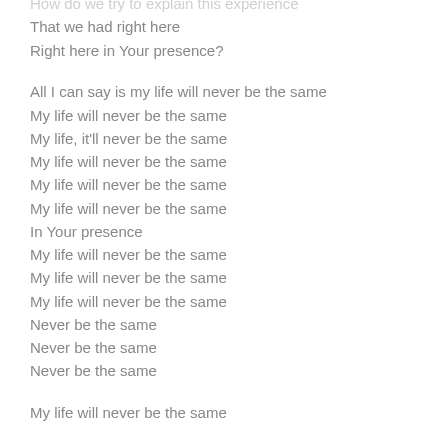How do we try to explain this experience
That we had right here
Right here in Your presence?

All I can say is my life will never be the same
My life will never be the same
My life, it'll never be the same
My life will never be the same
My life will never be the same
My life will never be the same
In Your presence
My life will never be the same
My life will never be the same
My life will never be the same
Never be the same
Never be the same
Never be the same

My life will never be the same